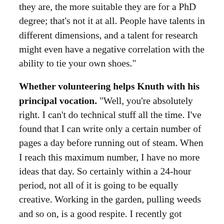they are, the more suitable they are for a PhD degree; that's not it at all. People have talents in different dimensions, and a talent for research might even have a negative correlation with the ability to tie your own shoes."
Whether volunteering helps Knuth with his principal vocation. "Well, you're absolutely right. I can't do technical stuff all the time. I've found that I can write only a certain number of pages a day before running out of steam. When I reach this maximum number, I have no more ideas that day. So certainly within a 24-hour period, not all of it is going to be equally creative. Working in the garden, pulling weeds and so on, is a good respite. I recently got together with some friends at Second Harvest, repackaging food from one place to another. This kind of activity, using my